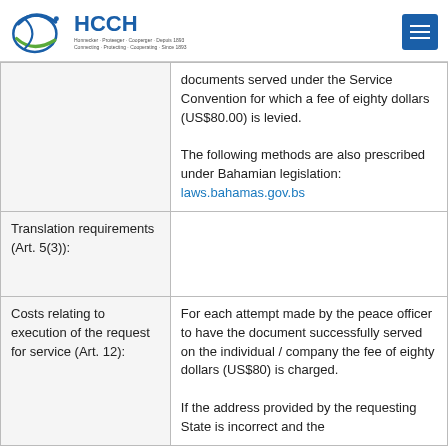HCCH logo and navigation
|  | documents served under the Service Convention for which a fee of eighty dollars (US$80.00) is levied.

The following methods are also prescribed under Bahamian legislation: laws.bahamas.gov.bs |
| Translation requirements (Art. 5(3)): |  |
| Costs relating to execution of the request for service (Art. 12): | For each attempt made by the peace officer to have the document successfully served on the individual / company the fee of eighty dollars (US$80) is charged.

If the address provided by the requesting State is incorrect and the |